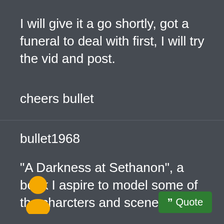I will give it a go shortly, got a funeral to deal with first, I will try the vid and post.
cheers bullet
bullet1968
"A Darkness at Sethanon", a book I aspire to model some of the charcters and scenes
[Figure (illustration): Yellow avatar icon of a person (circle head above torso shape)]
Quote